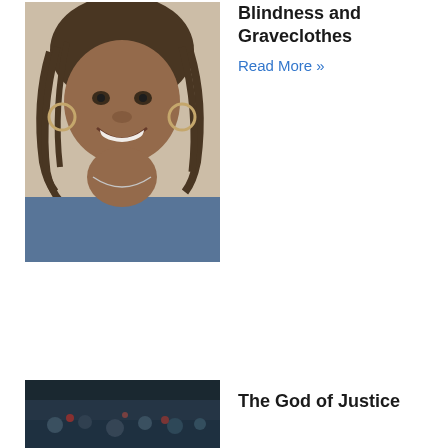[Figure (photo): Portrait photo of a smiling Black woman with braided hair wearing hoop earrings, a necklace, and a denim jacket]
Blindness and Graveclothes
Read More »
[Figure (photo): Outdoor scene with people, partially visible at the bottom of the page]
The God of Justice